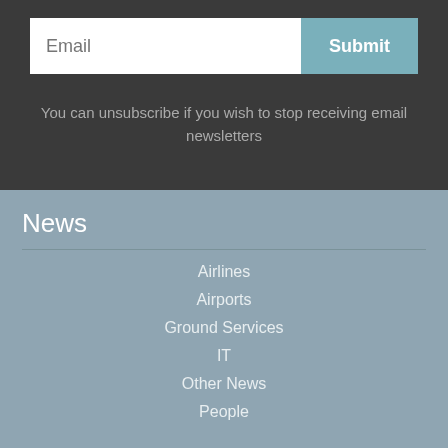[Figure (screenshot): Email subscription form with an email input field and a teal Submit button]
You can unsubscribe if you wish to stop receiving email newsletters
News
Airlines
Airports
Ground Services
IT
Other News
People